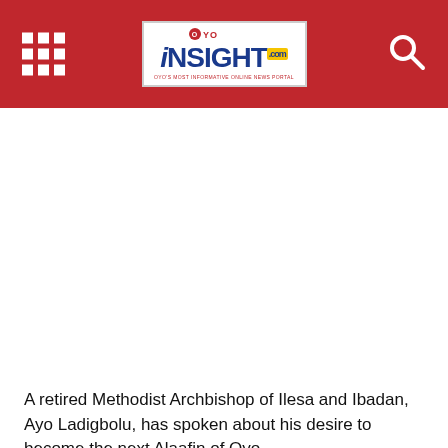OYO INSIGHT.com — OYO'S MOST INFORMATIVE ONLINE NEWS PORTAL
A retired Methodist Archbishop of Ilesa and Ibadan, Ayo Ladigbolu, has spoken about his desire to become the next Alaafin of Oyo,